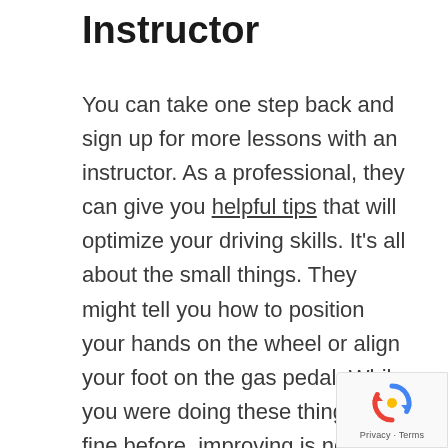Instructor
You can take one step back and sign up for more lessons with an instructor. As a professional, they can give you helpful tips that will optimize your driving skills. It's all about the small things. They might tell you how to position your hands on the wheel or align your foot on the gas pedal. While you were doing these things just fine before, improving is never a bad thing. An instructor can take a close look at your technique and point out improvements that you would
[Figure (logo): reCAPTCHA badge with recycling-arrow logo icon and Privacy · Terms text]